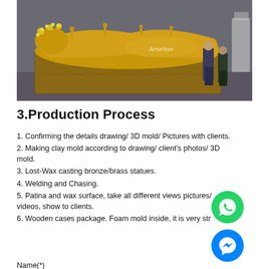[Figure (photo): Large golden reclining Buddha statue on an ornate bronze/brass base, with two people standing beside it inspecting the sculpture. A watermark 'Arturban' is visible on the image.]
3.Production Process
1. Confirming the details drawing/ 3D mold/ Pictures with clients.
2. Making clay mold according to drawing/ client's photos/ 3D mold.
3. Lost-Wax casting bronze/brass statues.
4. Welding and Chasing.
5. Patina and wax surface, take all different views pictures/ videos, show to clients.
6. Wooden cases package. Foam mold inside, it is very str…
Name(*)